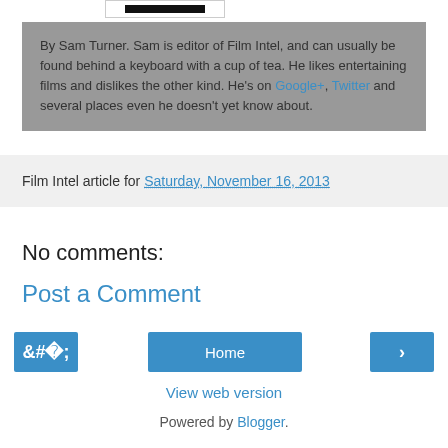[Figure (other): Small image stub with dark bar, partially visible at top]
By Sam Turner. Sam is editor of Film Intel, and can usually be found behind a keyboard with a cup of tea. He likes entertaining films and dislikes the other kind. He's on Google+, Twitter and several places even he doesn't yet know about.
Film Intel article for Saturday, November 16, 2013
No comments:
Post a Comment
Home
View web version
Powered by Blogger.